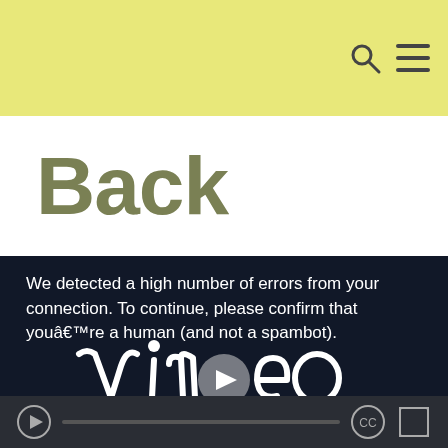Back
We detected a high number of errors from your connection. To continue, please confirm that youâ€™re a human (and not a spambot).
[Figure (logo): Vimeo logo in white on dark navy background with a play button circle in the center of the letter 'm']
[Figure (screenshot): Video player controls bar showing play button, progress bar, CC button, and fullscreen button on dark background]